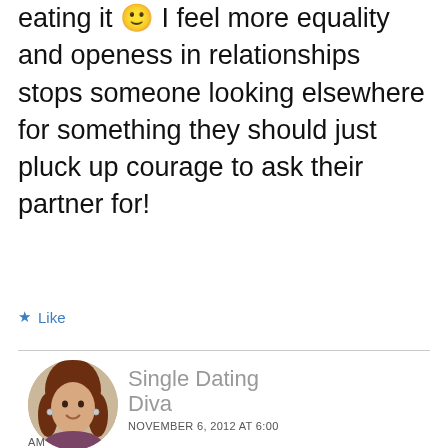eating it 🙂 I feel more equality and openess in relationships stops someone looking elsewhere for something they should just pluck up courage to ask their partner for!
★ Like
Single Dating Diva
NOVEMBER 6, 2012 AT 6:00 AM
👍 0 👎 0 ℹ Rate This
Thanks so much glad you enjoyed it!